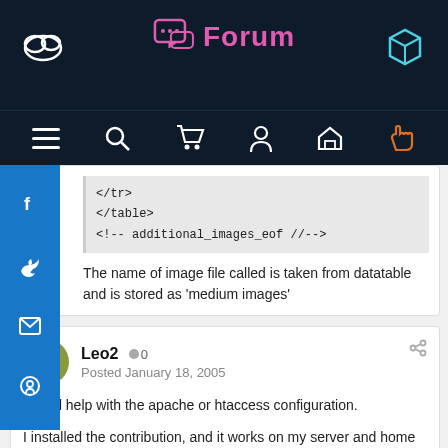Forum
</tr>
</table>
<!-- additional_images_eof //-->
The name of image file called is taken from datatable and is stored as 'medium images'
Leo2  0
Posted January 18, 2005
I need help with the apache or htaccess configuration.

I installed the contribution, and it works on my server and home computer, but I can't make it working on my office computer.